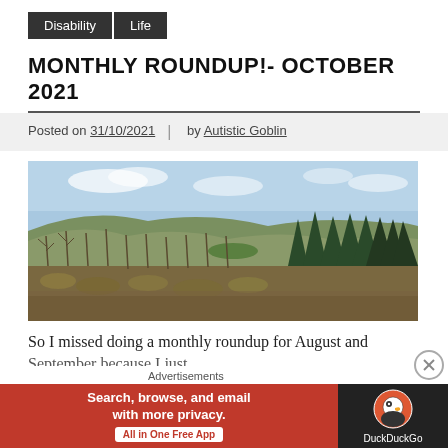Disability | Life
MONTHLY ROUNDUP!- OCTOBER 2021
Posted on 31/10/2021 | by Autistic Goblin
[Figure (photo): Landscape photograph showing rolling hills with mixed woodland, evergreen trees on the right, bare deciduous trees and scrubland in the foreground, under a partly cloudy sky.]
So I missed doing a monthly roundup for August and September because I just... I just wasn't in the position. It's hard to
Advertisements
Search, browse, and email with more privacy. All in One Free App | DuckDuckGo